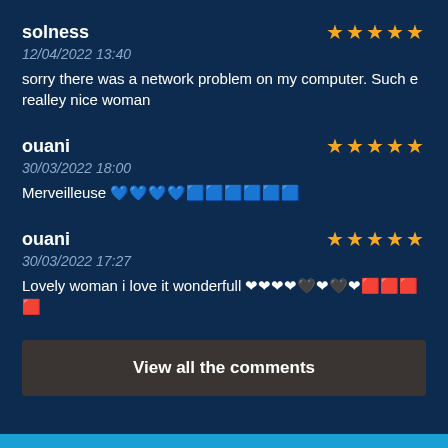solness
12/04/2022 13:40
sorry there was a network problem on my computer. Such e realley nice woman
ouani
30/03/2022 18:00
Merveilleuse 💙💙💙💙🟦🟦🟦🟦🟦🟦
ouani
30/03/2022 17:27
Lovely woman i love it wonderfull ❤❤❤❤🖤❤🖤❤🟥🟥🟥🟥
View all the comments